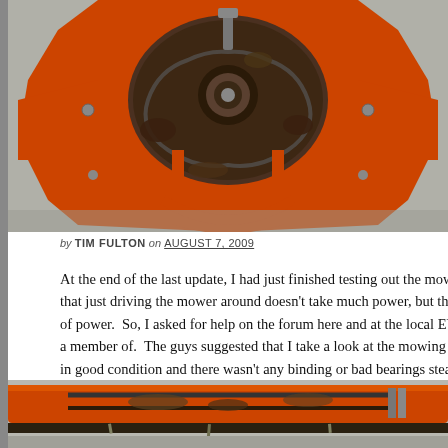[Figure (photo): Top-down view of an orange riding lawn mower deck, heavily soiled with dirt and grass debris. Mechanical components including pulleys, belts, and metal frame visible.]
by TIM FULTON on AUGUST 7, 2009
At the end of the last update, I had just finished testing out the mower fo that just driving the mower around doesn't take much power, but the mo of power.  So, I asked for help on the forum here and at the local EV (ele a member of.  The guys suggested that I take a look at the mowing deck a in good condition and there wasn't any binding or bad bearings stealing r
[Figure (photo): Close-up view of the underside of the orange lawn mower deck, showing the metal frame, belt, and accumulated debris.]